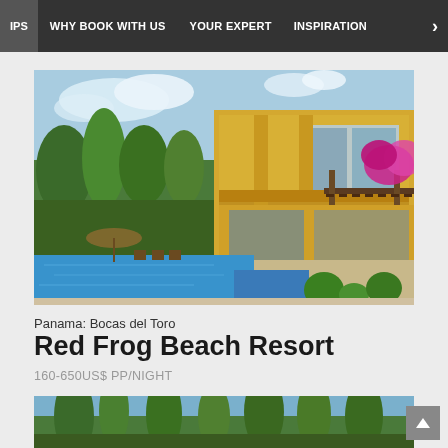IPS  WHY BOOK WITH US  YOUR EXPERT  INSPIRATION  >
[Figure (photo): Tropical resort villa with yellow exterior, two-story balcony with ceiling fan, pergola with bougainvillea flowers, outdoor lounge area, swimming pool with infinity edge, palm trees in background, sunny blue sky]
Panama: Bocas del Toro
Red Frog Beach Resort
160-650US$ PP/NIGHT
[Figure (photo): Bottom strip showing tropical scenery with palm trees and sky, partially visible]